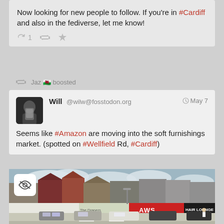Now looking for new people to follow. If you're in #Cardiff and also in the fediverse, let me know!
[Figure (screenshot): Social media action icons: reply (1), retweet, star/favorite]
Jaz 🏴󠁧󠁢󠁷󠁬󠁳󠁿 boosted
Will @wilw@fosstodon.org  May 7
Seems like #Amazon are moving into the soft furnishings market. (spotted on #Wellfield Rd, #Cardiff)
[Figure (photo): Street scene showing shops including AWS The Drapers and Hair Lounge on Wellfield Road, Cardiff]